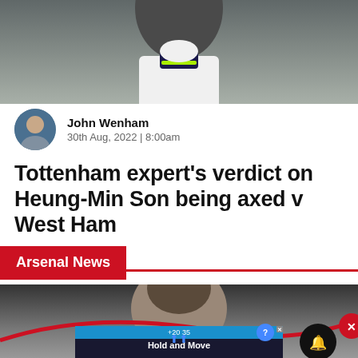[Figure (photo): Cropped photo of footballer in white jersey with dark collar and lime green stripe, from neck down]
John Wenham
30th Aug, 2022 | 8:00am
Tottenham expert's verdict on Heung-Min Son being axed v West Ham
Arsenal News
[Figure (photo): Photo of footballer (dark hair) from shoulders up against dark blurred background, with red curved graphic overlay, notification bell icon, close button, and 'Hold and Move' advertisement overlay]